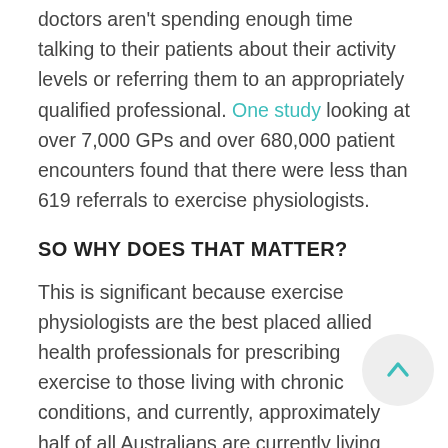doctors aren't spending enough time talking to their patients about their activity levels or referring them to an appropriately qualified professional. One study looking at over 7,000 GPs and over 680,000 patient encounters found that there were less than 619 referrals to exercise physiologists.
SO WHY DOES THAT MATTER?
This is significant because exercise physiologists are the best placed allied health professionals for prescribing exercise to those living with chronic conditions, and currently, approximately half of all Australians are currently living with a chronic health condition.